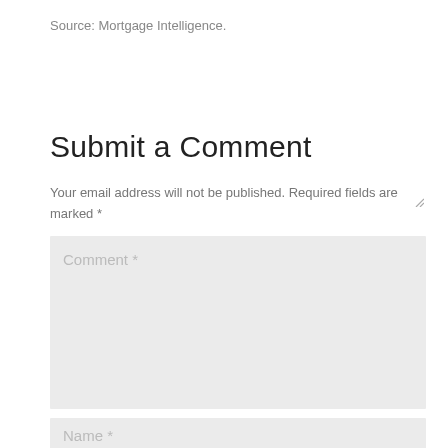Source: Mortgage Intelligence.
Submit a Comment
Your email address will not be published. Required fields are marked *
Comment *
Name *